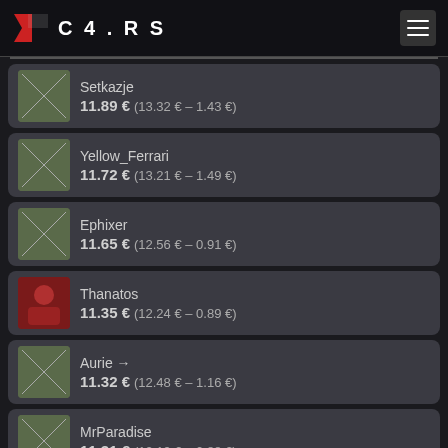C4.RS
Setkazje 11.89 € (13.32 € – 1.43 €)
Yellow_Ferrari 11.72 € (13.21 € – 1.49 €)
Ephixer 11.65 € (12.56 € – 0.91 €)
Thanatos 11.35 € (12.24 € – 0.89 €)
Aurie → 11.32 € (12.48 € – 1.16 €)
MrParadise 11.31 € (12.19 € – 0.88 €)
qcata-tnt 11.23 € (12.6 € – 1.37 €)